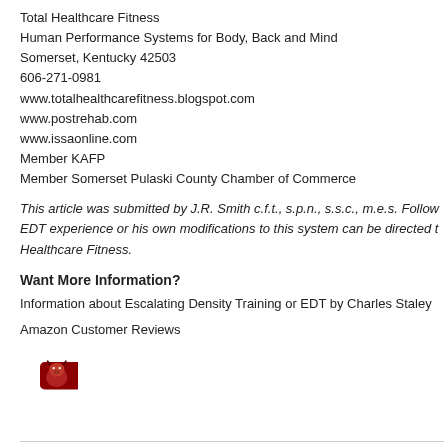Total Healthcare Fitness
Human Performance Systems for Body, Back and Mind
Somerset, Kentucky 42503
606-271-0981
www.totalhealthcarefitness.blogspot.com
www.postrehab.com
www.issaonline.com
Member KAFP
Member Somerset Pulaski County Chamber of Commerce
This article was submitted by J.R. Smith c.f.t., s.p.n., s.s.c., m.e.s. Follow EDT experience or his own modifications to this system can be directed to Healthcare Fitness.
Want More Information?
Information about Escalating Density Training or EDT by Charles Staley
Amazon Customer Reviews
[Figure (illustration): Red button with bull mascot icon and 'Read more' text in white]